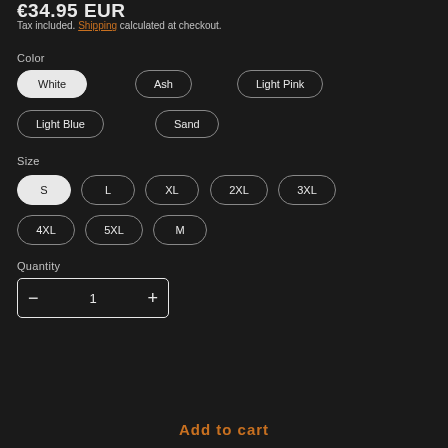€34.95 EUR
Tax included. Shipping calculated at checkout.
Color
White (selected)
Ash
Light Pink
Light Blue
Sand
Size
S (selected)
L
XL
2XL
3XL
4XL
5XL
M
Quantity
1
Add to cart